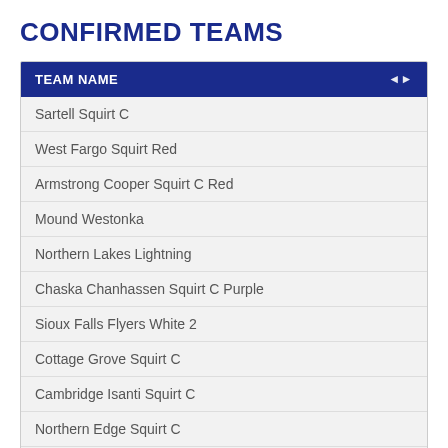CONFIRMED TEAMS
| TEAM NAME |
| --- |
| Sartell Squirt C |
| West Fargo Squirt Red |
| Armstrong Cooper Squirt C Red |
| Mound Westonka |
| Northern Lakes Lightning |
| Chaska Chanhassen Squirt C Purple |
| Sioux Falls Flyers White 2 |
| Cottage Grove Squirt C |
| Cambridge Isanti Squirt C |
| Northern Edge Squirt C |
| Sioux Falls Flyers White 1 |
| Northfield |